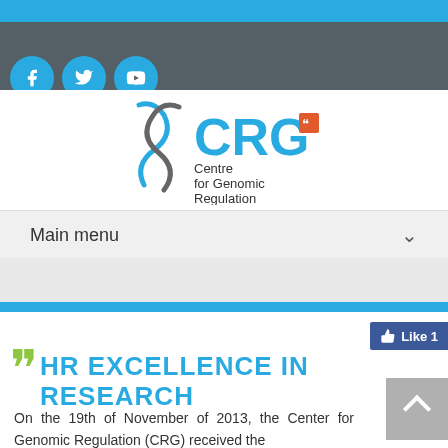[Figure (logo): CRG - Centre for Genomic Regulation logo with blue and gray DNA strand graphic]
Main menu
HR EXCELLENCE IN RESEARCH
On the 19th of November of 2013, the Center for Genomic Regulation (CRG) received the